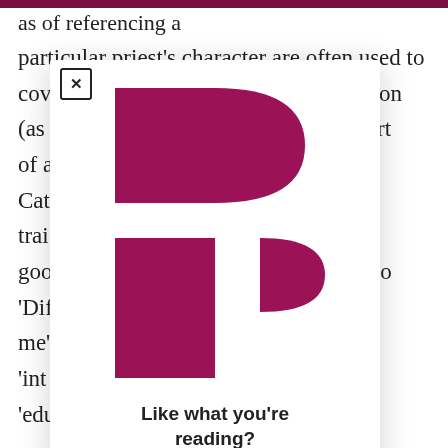as of referencing a particular priest's character are often used to cov[er] [descripti]on (as [part] art of a [... Cat[holic] trai[ning] goc[d)] 'Dif[ferent] o me'[...] 'int[ellectual] 'edu[cational]
[Figure (logo): Publisher logo composed of dark magenta/maroon geometric shapes forming a stylized letter P: a large rectangle with a D/half-circle on top (forming the upper letter shape), and a smaller rectangle with a smaller half-circle to the right (the lower portion).]
Like what you're reading?
In a [...] stic viol[ence]